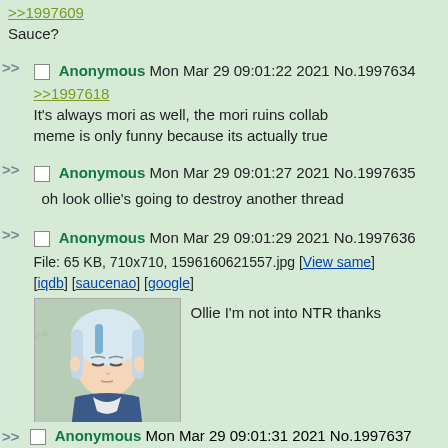>>1997609
Sauce?
Anonymous Mon Mar 29 09:01:22 2021 No.1997634
>>1997618
It's always mori as well, the mori ruins collab meme is only funny because its actually true
Anonymous Mon Mar 29 09:01:27 2021 No.1997635
oh look ollie's going to destroy another thread
Anonymous Mon Mar 29 09:01:29 2021 No.1997636
File: 65 KB, 710x710, 1596160621557.jpg [View same] [iqdb] [saucenao] [google]
Ollie I'm not into NTR thanks
Anonymous Mon Mar 29 09:01:31 2021 No.1997637